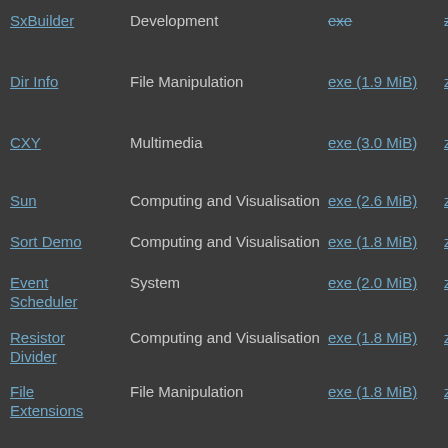| Name | Category | EXE | ZIP |
| --- | --- | --- | --- |
| SxBuilder | Development | exe | zip |
| Dir Info | File Manipulation | exe (1.9 MiB) | zip (1.3… |
| CXY | Multimedia | exe (3.0 MiB) | zip (2.4… |
| Sun | Computing and Visualisation | exe (2.6 MiB) | zip (2.1… |
| Sort Demo | Computing and Visualisation | exe (1.8 MiB) | zip (1.3… |
| Event Scheduler | System | exe (2.0 MiB) | zip (1.5… |
| Resistor Divider | Computing and Visualisation | exe (1.8 MiB) | zip (1.3… |
| File Extensions | File Manipulation | exe (1.8 MiB) | zip (1.3… |